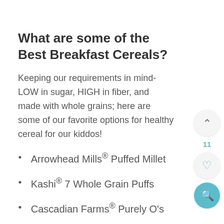What are some of the Best Breakfast Cereals?
Keeping our requirements in mind- LOW in sugar, HIGH in fiber, and made with whole grains; here are some of our favorite options for healthy cereal for our kiddos!
Arrowhead Mills® Puffed Millet
Kashi® 7 Whole Grain Puffs
Cascadian Farms® Purely O's
General Mills® Cheerios
Barbara's Bakery Shredded Spoonfuls